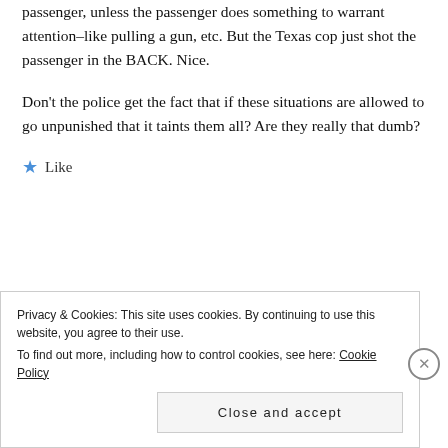passenger, unless the passenger does something to warrant attention–like pulling a gun, etc. But the Texas cop just shot the passenger in the BACK. Nice.
Don't the police get the fact that if these situations are allowed to go unpunished that it taints them all? Are they really that dumb?
★ Like
[Figure (photo): Small partially visible avatar or profile image thumbnail in bottom left area]
Privacy & Cookies: This site uses cookies. By continuing to use this website, you agree to their use. To find out more, including how to control cookies, see here: Cookie Policy
Close and accept